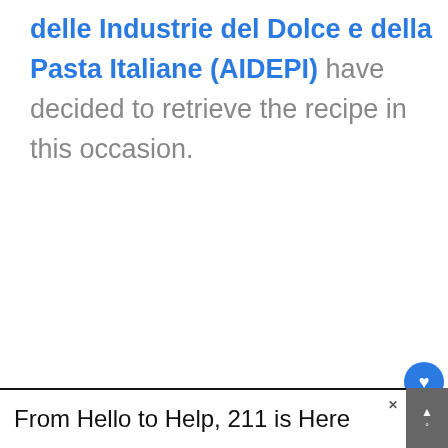delle Industrie del Dolce e della Pasta Italiane (AIDEPI) have decided to retrieve the recipe in this occasion.
[Figure (screenshot): Advertisement banner for Grocery Worker's Appreciation Fund featuring Kendall-Jackson and United Way logos, with a photo of a grocery worker on the left.]
[Figure (screenshot): Right sidebar with heart/like button showing count 7, and a share button.]
[Figure (screenshot): What's Next widget showing Tomato Passata with a bowl image.]
[Figure (screenshot): Bottom advertisement banner reading 'From Hello to Help, 211 is Here' with a close X button and a dark right panel with weather icons.]